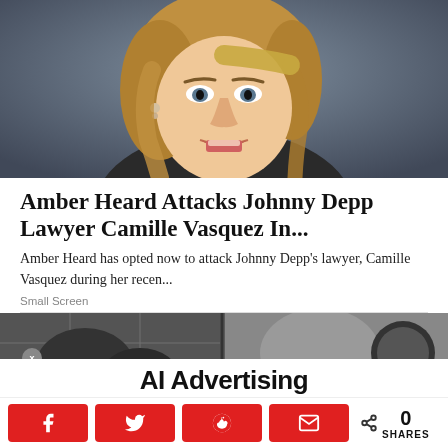[Figure (photo): Close-up photo of Amber Heard, a blonde woman with an expressive face, appearing to speak or react during an interview. She has wavy blonde hair and small earrings.]
Amber Heard Attacks Johnny Depp Lawyer Camille Vasquez In...
Amber Heard has opted now to attack Johnny Depp's lawyer, Camille Vasquez during her recen...
Small Screen
[Figure (photo): Partial second article image showing a dark scene, partially obscured by an AI Advertising overlay banner. A dark mode toggle icon (moon symbol) is visible on the right side. An X close button is visible on the left.]
AI Advertising